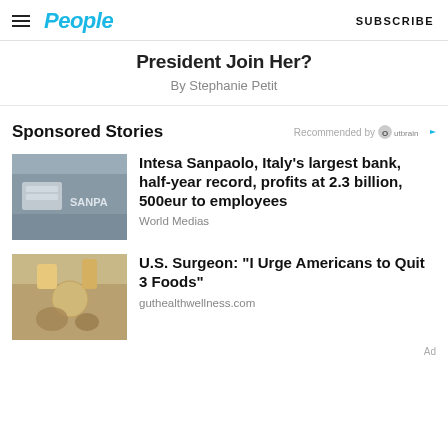People | SUBSCRIBE
President Join Her?
By Stephanie Petit
Sponsored Stories
Recommended by Outbrain
Intesa Sanpaolo, Italy’s largest bank, half-year record, profits at 2.3 billion, 500eur to employees
World Medias
U.S. Surgeon: “I Urge Americans to Quit 3 Foods”
guthealthwellness.com